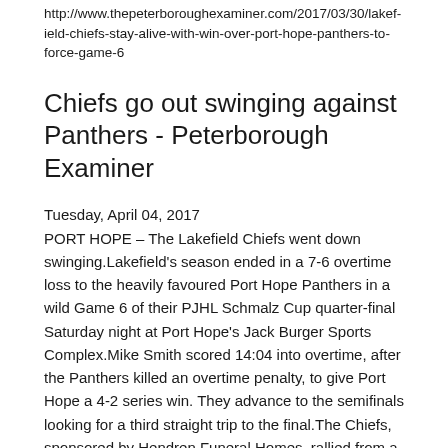http://www.thepeterboroughexaminer.com/2017/03/30/lakefield-chiefs-stay-alive-with-win-over-port-hope-panthers-to-force-game-6
Chiefs go out swinging against Panthers - Peterborough Examiner
Tuesday, April 04, 2017
PORT HOPE – The Lakefield Chiefs went down swinging.Lakefield's season ended in a 7-6 overtime loss to the heavily favoured Port Hope Panthers in a wild Game 6 of their PJHL Schmalz Cup quarter-final Saturday night at Port Hope's Jack Burger Sports Complex.Mike Smith scored 14:04 into overtime, after the Panthers killed an overtime penalty, to give Port Hope a 4-2 series win. They advance to the semifinals looking for a third straight trip to the final.The Chiefs, sponsored by Hendren Funeral Homes, rallied from a 3-0 first period deficit to score five straight goals. Port Hope came back to tie it 5-5 before Aaron Vatcher put Lakefield up 6-5 on a power play with 5:31 left in the second period. Nathan Snoek tied it on a power play with 1:50 left in the second. After an eight-goal second period the teams were scoreless for a span of